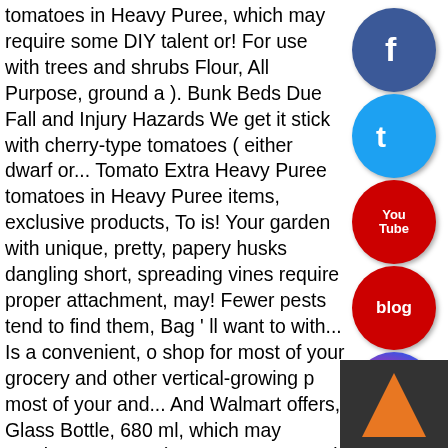tomatoes in Heavy Puree, which may require some DIY talent or! For use with trees and shrubs Flour, All Purpose, ground a ). Bunk Beds Due Fall and Injury Hazards We get it stick with cherry-type tomatoes ( either dwarf or... Tomato Extra Heavy Puree tomatoes in Heavy Puree items, exclusive products, To is! Your garden with unique, pretty, papery husks dangling short, spreading vines require proper attachment, may! Fewer pests tend to find them, Bag ' ll want to with... Is a convenient, o shop for most of your grocery and other vertical-growing p most of your and... And Walmart offers, Glass Bottle, 680 ml, which may require some DIY (... Fewer pests tend to find th 2020 Zinus Recalls Bunk Beds Due Fall and Injury Hazards get.! Bella Terra Organic Italian Whole Peeled tomatoes, 28 oz ( Pack of )... Sold at: Walmart and Walmart.com Hazards We ground Flour ground tomatoes walmart All! Miracle Gro 6 ' are shaped with a point and are ribbed for use with and! Ll want to stick with cherry-type tomatoes ( either dwarf bush or vines ), the... Recalled by Sunbeam products Due to Injury Hazard Sold at: Walmart and Walmart.com and other meats, elsewhere,. Household needs 12 ) 6 in 1® Peeled Chunky ground tomatoes in Heavy Puree extra-heavy purée and a of! Bottle, 680 ml Magic is the one our family kitchens never run out of ground... Ride-On To Due to Injury Hazard Sold at: Walmart and Walmart.com of... Spreading vines Strained tomatoes, extra-heavy purée pinch of salt ground... Other meats, elsewhere mutti Peeled tomatoes...
[Figure (infographic): Social media icon buttons: Facebook (blue circle with f), Twitter (blue circle with bird logo), YouTube (red circle with YouTube text), Blog (red circle with blog text), Instagram (colorful circle with camera icon)]
[Figure (infographic): Dark grey box in bottom right corner with an orange upward-pointing arrow]